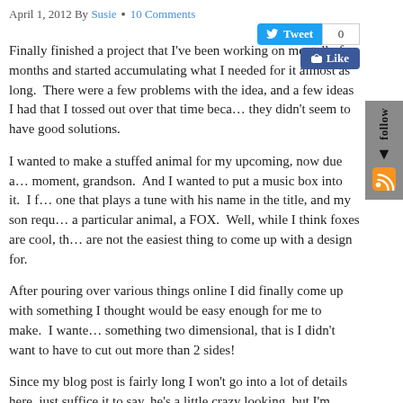April 1, 2012 By Susie • 10 Comments
Finally finished a project that I've been working on mentally for months and started accumulating what I needed for it almost as long.  There were a few problems with the idea, and a few ideas I had that I tossed out over that time because they didn't seem to have good solutions.
I wanted to make a stuffed animal for my upcoming, now due any moment, grandson.  And I wanted to put a music box into it.  I found one that plays a tune with his name in the title, and my son requested a particular animal, a FOX.  Well, while I think foxes are cool, they are not the easiest thing to come up with a design for.
After pouring over various things online I did finally come up with something I thought would be easy enough for me to make.  I wanted something two dimensional, that is I didn't want to have to cut out more than 2 sides!
Since my blog post is fairly long I won't go into a lot of details here, just suffice it to say, he's a little crazy looking, but I'm pretty pleased with the outcome.  I hope my little grandson will enjoy his fox and the nice thing about him is he has 4 long legs and a tail and a long nose